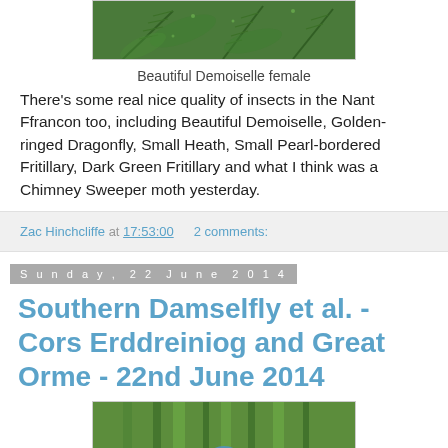[Figure (photo): Photo of Beautiful Demoiselle female - green fern background, top portion visible]
Beautiful Demoiselle female
There's some real nice quality of insects in the Nant Ffrancon too, including Beautiful Demoiselle, Golden-ringed Dragonfly, Small Heath, Small Pearl-bordered Fritillary, Dark Green Fritillary and what I think was a Chimney Sweeper moth yesterday.
Zac Hinchcliffe at 17:53:00   2 comments:
Sunday, 22 June 2014
Southern Damselfly et al. - Cors Erddreiniog and Great Orme - 22nd June 2014
[Figure (photo): Photo showing a blue damselfly among green reeds/grass stems]